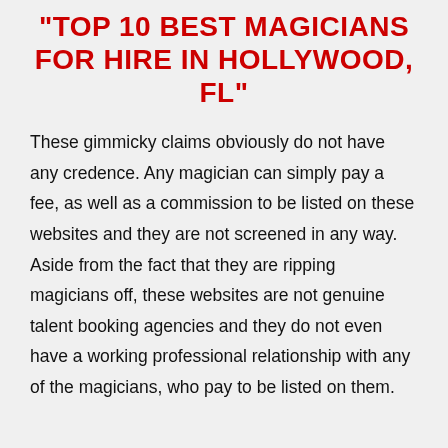"TOP 10 BEST MAGICIANS FOR HIRE IN HOLLYWOOD, FL"
These gimmicky claims obviously do not have any credence. Any magician can simply pay a fee, as well as a commission to be listed on these websites and they are not screened in any way. Aside from the fact that they are ripping magicians off, these websites are not genuine talent booking agencies and they do not even have a working professional relationship with any of the magicians, who pay to be listed on them.